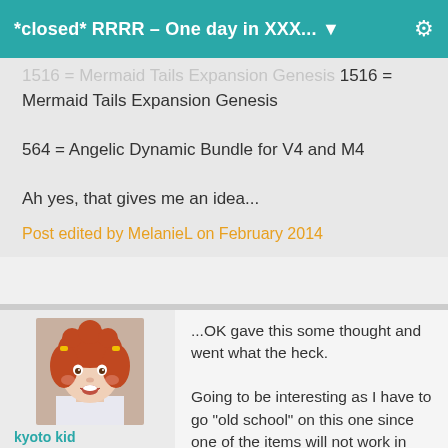*closed* RRRR – One day in XXX... ▼
1516 = Mermaid Tails Expansion Genesis
564 = Angelic Dynamic Bundle for V4 and M4

Ah yes, that gives me an idea...
Post edited by MelanieL on February 2014
[Figure (photo): Avatar photo of a cartoon/rendered child character with red curly hair and yellow hair clips]
kyoto kid
Posts: 38,382
February 2014
...OK gave this some thought and went what the heck.

Going to be interesting as I have to go "old school" on this one since one of the items will not work in Daz 4.6.

234 Character Expansion for Hiro 4